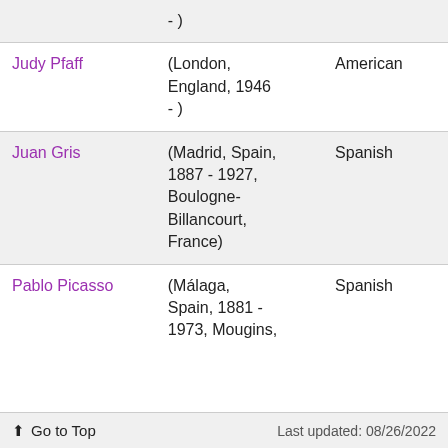| Artist | Dates/Location | Nationality |
| --- | --- | --- |
|  | - ) |  |
| Judy Pfaff | (London, England, 1946 - ) | American |
| Juan Gris | (Madrid, Spain, 1887 - 1927, Boulogne-Billancourt, France) | Spanish |
| Pablo Picasso | (Málaga, Spain, 1881 - 1973, Mougins, | Spanish |
⬆ Go to Top    Last updated: 08/26/2022